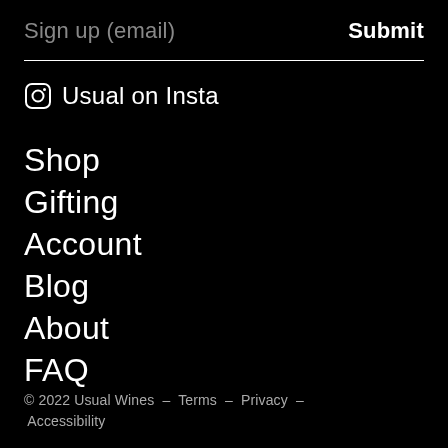Sign up (email)   Submit
Usual on Insta
Shop
Gifting
Account
Blog
About
FAQ
© 2022 Usual Wines  –  Terms  –  Privacy  –  Accessibility